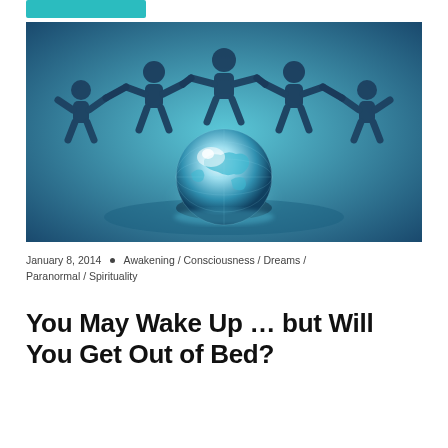[Figure (photo): Paper cutout human figures holding hands in a circle around a glowing crystal globe showing Earth, blue-toned image]
January 8, 2014  •  Awakening / Consciousness / Dreams / Paranormal / Spirituality
You May Wake Up … but Will You Get Out of Bed?